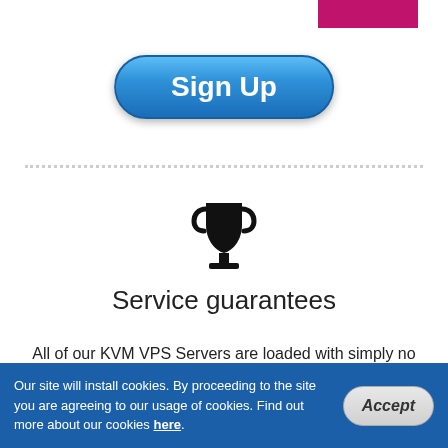[Figure (illustration): Partial pink/magenta rectangle visible at top right, part of a logo or header element cropped at the top of the page]
[Figure (illustration): Blue rounded pill-shaped Sign Up button with white bold text]
[Figure (illustration): Black trophy/cup icon representing service guarantees]
Service guarantees
All of our KVM VPS Servers are loaded with simply no installation charges and function in a stable 99.9% uptime network. Full root and SSH access is guaranteed.
[Figure (illustration): Live Chat speech bubble widget at bottom right]
Our site will install cookies. By proceeding to the site you are agreeing to our usage of cookies. Find out more about our cookies here.